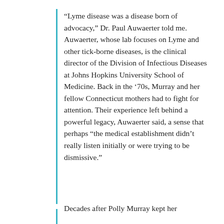“Lyme disease was a disease born of advocacy,” Dr. Paul Auwaerter told me. Auwaerter, whose lab focuses on Lyme and other tick-borne diseases, is the clinical director of the Division of Infectious Diseases at Johns Hopkins University School of Medicine. Back in the ’70s, Murray and her fellow Connecticut mothers had to fight for attention. Their experience left behind a powerful legacy, Auwaerter said, a sense that perhaps “the medical establishment didn’t really listen initially or were trying to be dismissive.”
Decades after Polly Murray kept her